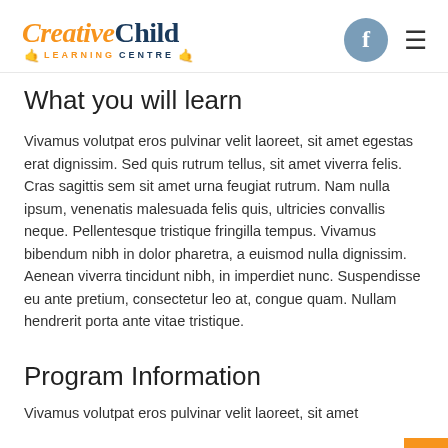[Figure (logo): Creative Child Learning Centre logo with orange and dark blue text, hand icons, and Facebook icon with hamburger menu]
What you will learn
Vivamus volutpat eros pulvinar velit laoreet, sit amet egestas erat dignissim. Sed quis rutrum tellus, sit amet viverra felis. Cras sagittis sem sit amet urna feugiat rutrum. Nam nulla ipsum, venenatis malesuada felis quis, ultricies convallis neque. Pellentesque tristique fringilla tempus. Vivamus bibendum nibh in dolor pharetra, a euismod nulla dignissim. Aenean viverra tincidunt nibh, in imperdiet nunc. Suspendisse eu ante pretium, consectetur leo at, congue quam. Nullam hendrerit porta ante vitae tristique.
Program Information
Vivamus volutpat eros pulvinar velit laoreet, sit amet